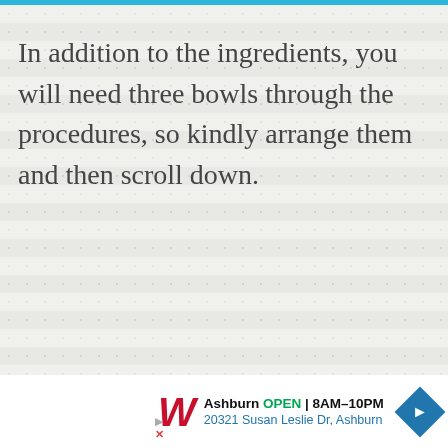In addition to the ingredients, you will need three bowls through the procedures, so kindly arrange them and then scroll down.
[Figure (screenshot): Walgreens advertisement showing store location in Ashburn, OPEN 8AM-10PM, address 20321 Susan Leslie Dr, Ashburn, with navigation arrow icon]